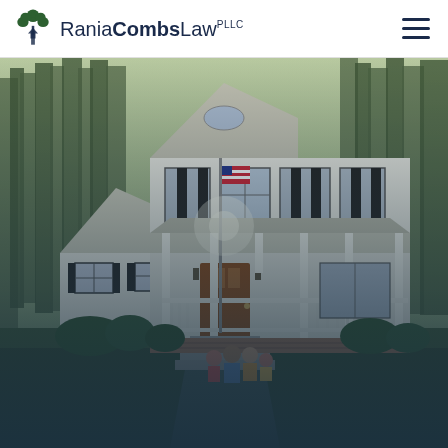RaniaCombs Law PLLC
[Figure (photo): A white two-story Southern-style house with a covered front porch, columns, black shutters, and a flagpole. A family of four is seated on the front steps. Tall pine trees visible in the background. The image fades to a dark navy/teal overlay at the bottom.]